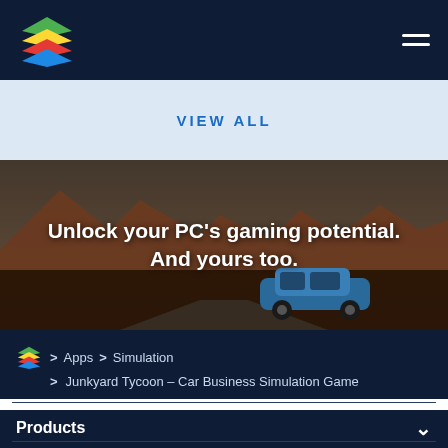BlueStacks logo and navigation hamburger menu
VIEW ALL
[Figure (photo): Desert landscape with buttes and a blue vintage car on a road, dark cinematic lighting. Text overlay: 'Unlock your PC's gaming potential. And yours too.']
Unlock your PC's gaming potential. And yours too.
Apps > Simulation
Junkyard Tycoon – Car Business Simulation Game
Products